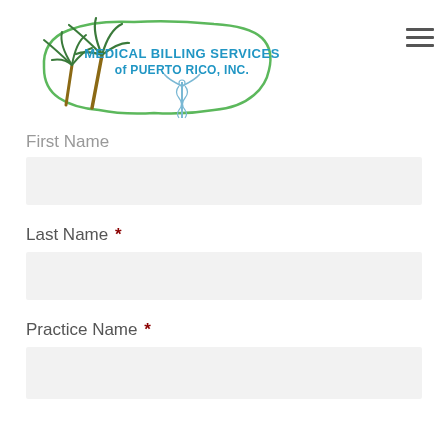[Figure (logo): Medical Billing Services of Puerto Rico, Inc. logo — outline of Puerto Rico island in green with palm trees on the left and a caduceus symbol, text reads 'MEDICAL BILLING SERVICES of PUERTO RICO, INC.' in blue]
First Name
Last Name *
Practice Name *